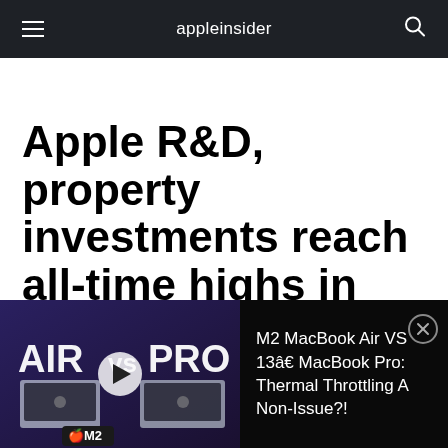appleinsider
Apple R&D, property investments reach all-time highs in Q1
Mikey Campbell | Jan 27, 2016
[Figure (screenshot): Video thumbnail showing AIR vs PRO MacBook comparison with play button and M2 chip logo overlay]
M2 MacBook Air VS 13â€ MacBook Pro: Thermal Throttling A Non-Issue?!